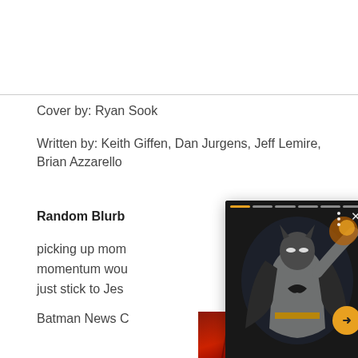Cover by: Ryan Sook
Written by: Keith Giffen, Dan Jurgens, Jeff Lemire, Brian Azzarello
Random Blurb
picking up mom... momentum wou... just stick to Jes...
Batman News C...
[Figure (screenshot): A popup/story overlay showing a Batman action figure in a dark background. The overlay has a progress indicator at the top with multiple segments (first segment highlighted in orange). There are three vertical dots and an X close button at the top right. An orange circular arrow button appears at the middle right. Below the image is a vertical orange line indicator.]